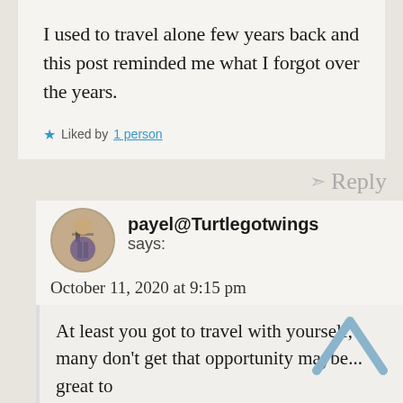I used to travel alone few years back and this post reminded me what I forgot over the years.
Liked by 1 person
Reply
payel@Turtlegotwings says:
October 11, 2020 at 9:15 pm
At least you got to travel with yourself, many don't get that opportunity maybe... great to